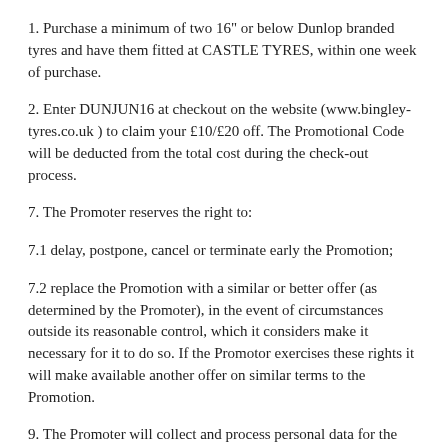1. Purchase a minimum of two 16" or below Dunlop branded tyres and have them fitted at CASTLE TYRES, within one week of purchase.
2. Enter DUNJUN16 at checkout on the website (www.bingley-tyres.co.uk ) to claim your £10/£20 off. The Promotional Code will be deducted from the total cost during the check-out process.
7. The Promoter reserves the right to:
7.1 delay, postpone, cancel or terminate early the Promotion;
7.2 replace the Promotion with a similar or better offer (as determined by the Promoter), in the event of circumstances outside its reasonable control, which it considers make it necessary for it to do so. If the Promotor exercises these rights it will make available another offer on similar terms to the Promotion.
9. The Promoter will collect and process personal data for the purposes of running the promotion, in accordance with